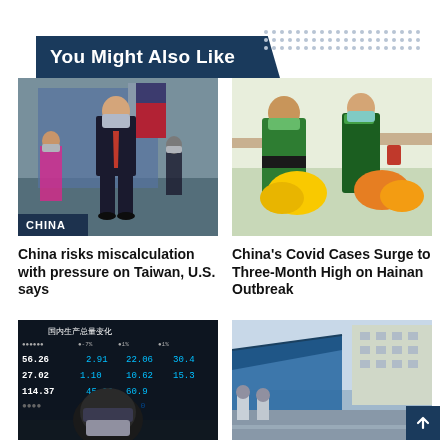You Might Also Like
[Figure (photo): Man in suit and face mask walking inside a building with US flag in background, labeled CHINA]
[Figure (photo): Healthcare workers in green scrubs carrying large yellow bags in a facility]
China risks miscalculation with pressure on Taiwan, U.S. says
China's Covid Cases Surge to Three-Month High on Hainan Outbreak
[Figure (photo): Person wearing mask in front of electronic board showing financial/economic numbers including 56.26, 27.02, 114.37]
[Figure (photo): Blue tent structure outdoors near buildings, people in protective gear visible]